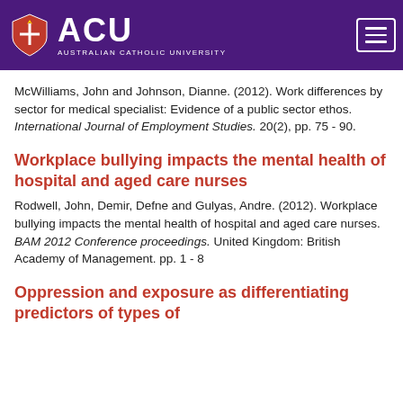[Figure (logo): ACU (Australian Catholic University) logo on purple header with hamburger menu icon]
McWilliams, John and Johnson, Dianne. (2012). Work differences by sector for medical specialist: Evidence of a public sector ethos. International Journal of Employment Studies. 20(2), pp. 75 - 90.
Workplace bullying impacts the mental health of hospital and aged care nurses
Rodwell, John, Demir, Defne and Gulyas, Andre. (2012). Workplace bullying impacts the mental health of hospital and aged care nurses. BAM 2012 Conference proceedings. United Kingdom: British Academy of Management. pp. 1 - 8
Oppression and exposure as differentiating predictors of types of